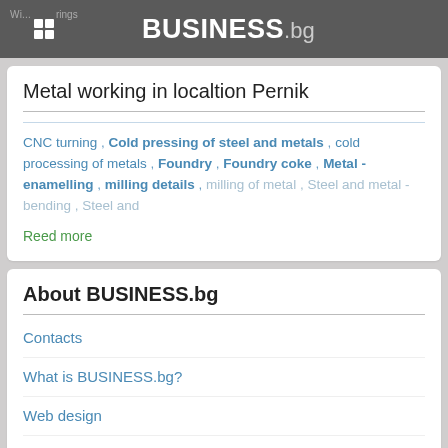Win...rings BUSINESS.bg
Metal working in localtion Pernik
CNC turning , Cold pressing of steel and metals , cold processing of metals , Foundry , Foundry coke , Metal - enamelling , milling details , milling of metal , Steel and metal - bending , Steel and
Reed more
About BUSINESS.bg
Contacts
What is BUSINESS.bg?
Web design
How to include your company in BUSINESS.bg for free?